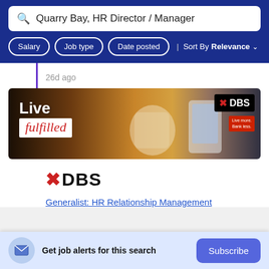Quarry Bay, HR Director / Manager
Salary | Job type | Date posted | Sort By Relevance
26d ago
[Figure (photo): DBS Bank advertisement banner showing a person holding a coffee cup and a smartphone. Text reads 'Live fulfilled' with DBS logo and tagline 'Live more. Bank less.']
[Figure (logo): DBS Bank logo with red X mark and DBS text]
Generalist: HR Relationship Management
Get job alerts for this search
Subscribe